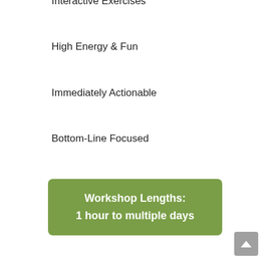Interactive Exercises
High Energy & Fun
Immediately Actionable
Bottom-Line Focused
Workshop Lengths:
1 hour to multiple days